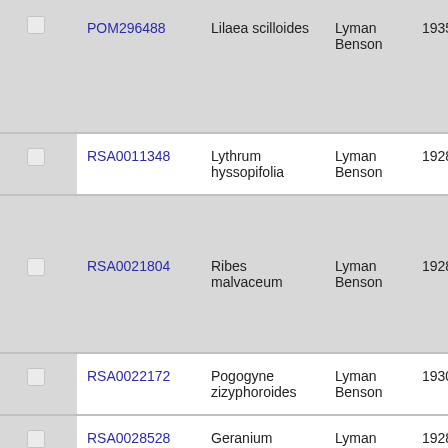|  | ID | Species | Collector | Date | Number | Location |
| --- | --- | --- | --- | --- | --- | --- |
| ☐ | POM296488 | Lilaea scilloides | Lyman Benson | 1935-4-23 | 6415 | Sa... Cl... |
| ☐ | RSA0011348 | Lythrum hyssopifolia | Lyman Benson | 1928-6-4 | 734 | Sa... Cl... |
| ☐ | RSA0021804 | Ribes malvaceum | Lyman Benson | 1928-11-15 | 779 | Sa... Cl... |
| ☐ | RSA0022172 | Pogogyne zizyphoroides | Lyman Benson | 1930-4-17 | 2083 | Sa... Cl... |
| ☐ | RSA0028528 | Geranium dissectum | Lyman Benson | 1928-4-18 | 71 | Sa... Cl... |